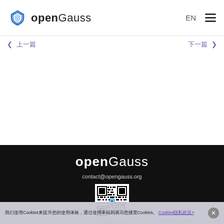openGauss  EN ☰
< 上一篇   下一篇 >
[Figure (logo): openGauss logo and brand name in footer dark section]
contact@opengauss.org
[Figure (other): QR code for openGauss WeChat or social media]
关注我们的公众号
关于  |  最新动态
用户案例  |  文档中心  |  社区治理
我们使用Cookies来提升您的使用体验，通过使用本站则表示您接受Cookies。 Cookies隐私政策>